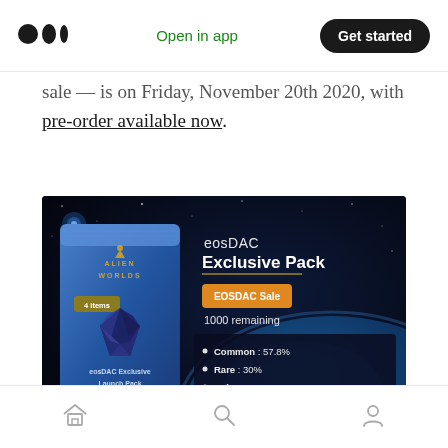Medium app header with logo, Open in app link, Get started button
sale — is on Friday, November 20th 2020, with pre-order available now.
[Figure (photo): eosDAC Exclusive Pack promotional image for Alien Worlds game. Shows a blue card pack labeled 'Alien Worlds' with 4 items, alongside text reading 'eosDAC Exclusive Pack', an orange 'EOSDAC Sale' button, '1000 remaining', and rarity breakdown: Common: 57.8%, Rare: 30%, Epic: 8%, DAC Special Item: 2%, Legendary: 2%, Mythical: 0.2%. Caption on pack reads 'eosDAC Exclusive Launch Pack'. Space/planet background.]
Navigation bar with home, search, and profile icons